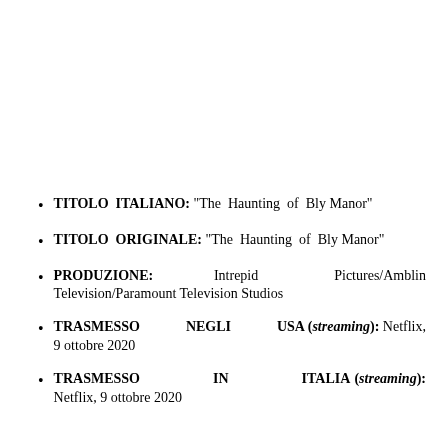TITOLO ITALIANO: "The Haunting of Bly Manor"
TITOLO ORIGINALE: "The Haunting of Bly Manor"
PRODUZIONE: Intrepid Pictures/Amblin Television/Paramount Television Studios
TRASMESSO NEGLI USA (streaming): Netflix, 9 ottobre 2020
TRASMESSO IN ITALIA (streaming): Netflix, 9 ottobre 2020